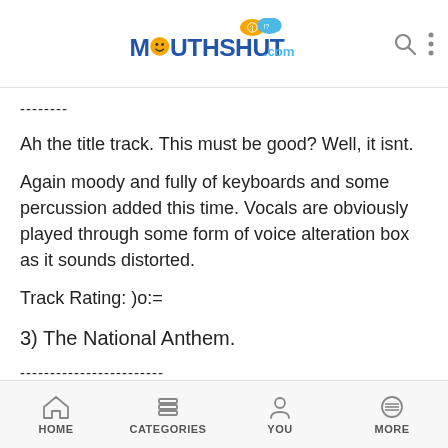MouthShut.com
--------
Ah the title track. This must be good? Well, it isnt.
Again moody and fully of keyboards and some percussion added this time. Vocals are obviously played through some form of voice alteration box as it sounds distorted.
Track Rating: )o:=
3) The National Anthem.
------------------------
A bit better. More like Radiohead of old. It has a powerful bassline this song.
Drums sound very much like a Radiohead song. Not
HOME   CATEGORIES   YOU   MORE